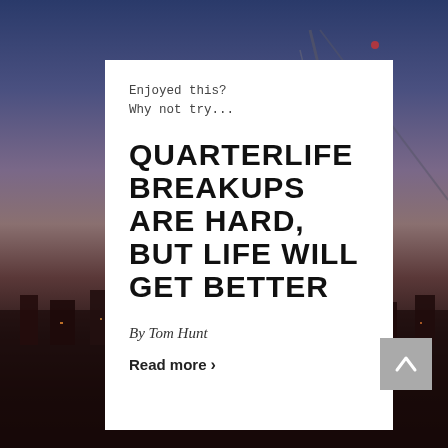[Figure (photo): Background photo of a city skyline at dusk/night with crane structure visible, dark purple and red tones]
Enjoyed this?
Why not try...
QUARTERLIFE BREAKUPS ARE HARD, BUT LIFE WILL GET BETTER
By Tom Hunt
Read more >